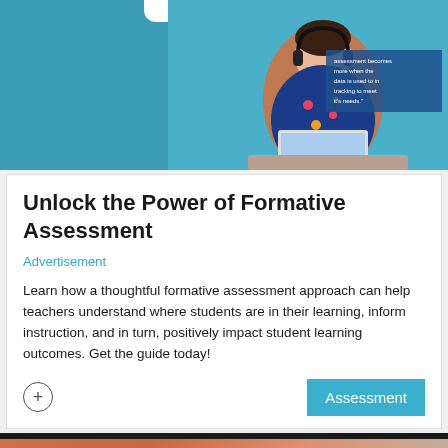[Figure (photo): Top banner with teal background showing a student wearing headphones working on a laptop, with a text overlay panel on the right side]
Unlock the Power of Formative Assessment
Advertisement
Learn how a thoughtful formative assessment approach can help teachers understand where students are in their learning, inform instruction, and in turn, positively impact student learning outcomes. Get the guide today!
[Figure (logo): Bottom banner with orange/salmon gradient background showing EdTech Update logo with monitor icon in a circle]